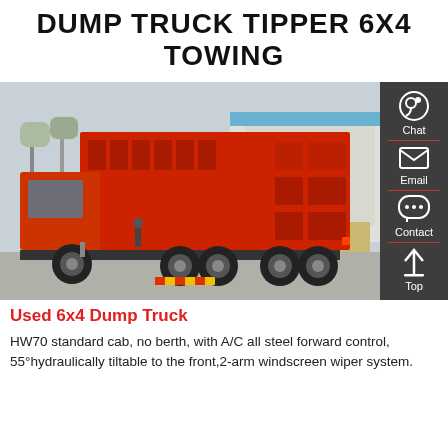DUMP TRUCK TIPPER 6X4 TOWING
[Figure (photo): Red 6x4 dump truck (tipper) parked in an industrial yard, viewed from the rear-left quarter. The truck has a large red rectangular dump body with reinforced panels. Background shows a building with blue roof and bare trees.]
Used 6x4 Dump Truck
HW70 standard cab, no berth, with A/C all steel forward control, 55°hydraulically tiltable to the front,2-arm windscreen wiper system.